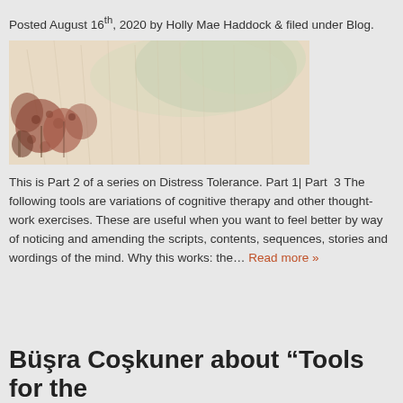Posted August 16th, 2020 by Holly Mae Haddock & filed under Blog.
[Figure (illustration): A soft watercolor painting depicting a meadow scene with reddish-brown wildflowers and plants in the foreground and soft green and beige hues in the background.]
This is Part 2 of a series on Distress Tolerance. Part 1| Part  3 The following tools are variations of cognitive therapy and other thought-work exercises. These are useful when you want to feel better by way of noticing and amending the scripts, contents, sequences, stories and wordings of the mind. Why this works: the… Read more »
Büşra Coşkuner about “Tools for the